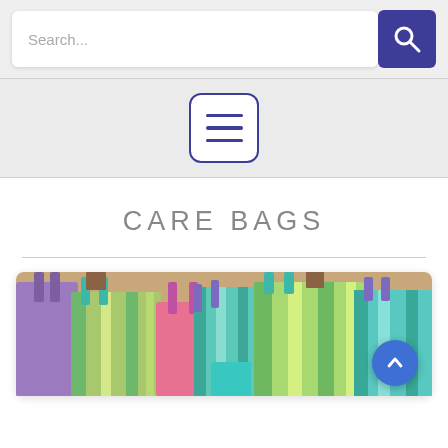[Figure (screenshot): Search bar with text 'Search...' in light gray and a dark blue search button with magnifying glass icon on the right]
[Figure (screenshot): Navigation menu hamburger icon inside a rounded square border in dark blue/indigo color, centered on a light gray bar]
CARE BAGS
[Figure (photo): Photo of multiple colorful tote bags with striped fabric patterns in green, yellow, pink, purple, and teal colors arranged together. A blue circular scroll-to-top arrow button overlays the bottom right of the image.]